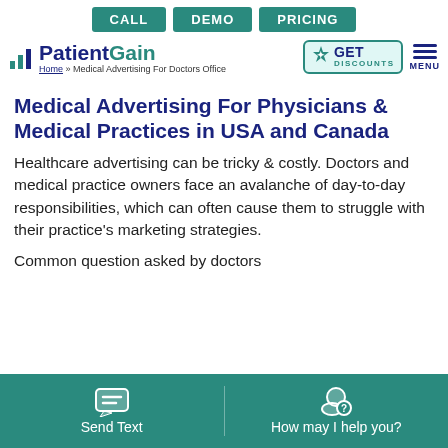CALL  DEMO  PRICING
[Figure (logo): PatientGain logo with bar chart icon, teal and dark blue text, GET DISCOUNTS badge, and MENU icon]
Home » Medical Advertising For Doctors Office
Medical Advertising For Physicians & Medical Practices in USA and Canada
Healthcare advertising can be tricky & costly. Doctors and medical practice owners face an avalanche of day-to-day responsibilities, which can often cause them to struggle with their practice's marketing strategies.
Common question asked by doctors
Send Text   How may I help you?